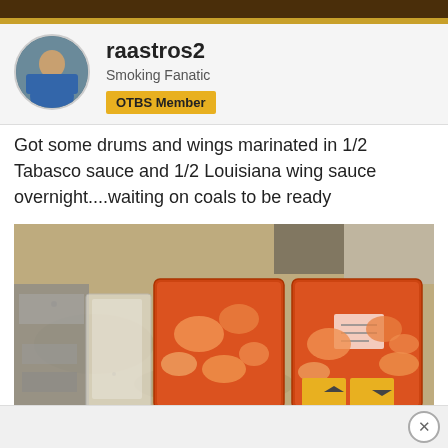raastros2 - Smoking Fanatic - OTBS Member
Got some drums and wings marinated in 1/2 Tabasco sauce and 1/2 Louisiana wing sauce overnight....waiting on coals to be ready
[Figure (photo): Kitchen counter with two large plastic bags filled with chicken pieces marinated in orange/red hot sauce, alongside a clear empty bag, on a granite countertop near a stove.]